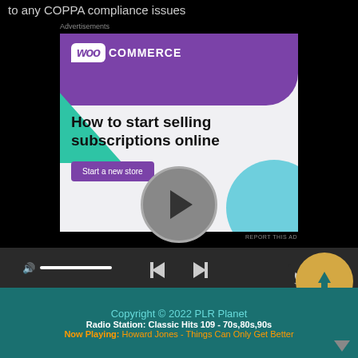to any COPPA compliance issues
Advertisements
[Figure (screenshot): WooCommerce advertisement banner: purple header with WooCommerce logo, green triangle decoration, teal circle decoration, headline 'How to start selling subscriptions online', purple 'Start a new store' button]
REPORT THIS AD
[Figure (screenshot): Audio player bar with volume icon, progress bar, prev/next controls, circular album art with play button]
Copyright © 2022 PLR Planet
Radio Station: Classic Hits 109 - 70s,80s,90s
Now Playing: Howard Jones - Things Can Only Get Better